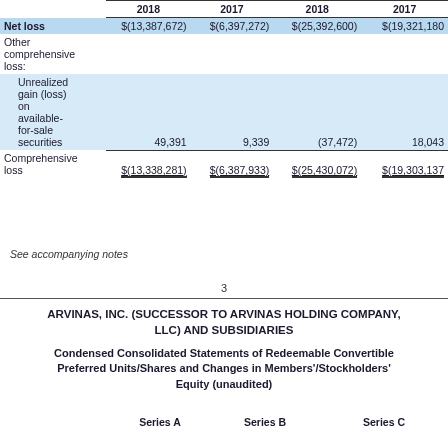|  | 2018 | 2017 | 2018 | 2017 |
| --- | --- | --- | --- | --- |
| Net loss | $(13,387,672) | $(6,397,272) | $(25,392,600) | $(19,321,180) |
| Other comprehensive loss: |  |  |  |  |
| Unrealized gain (loss) on available-for-sale securities | 49,391 | 9,339 | (37,472) | 18,043 |
| Comprehensive loss | $(13,338,281) | $(6,387,933) | $(25,430,072) | $(19,303,137) |
See accompanying notes
3
ARVINAS, INC. (SUCCESSOR TO ARVINAS HOLDING COMPANY, LLC) AND SUBSIDIARIES
Condensed Consolidated Statements of Redeemable Convertible Preferred Units/Shares and Changes in Members'/Stockholders' Equity (unaudited)
Series A    Series B    Series C